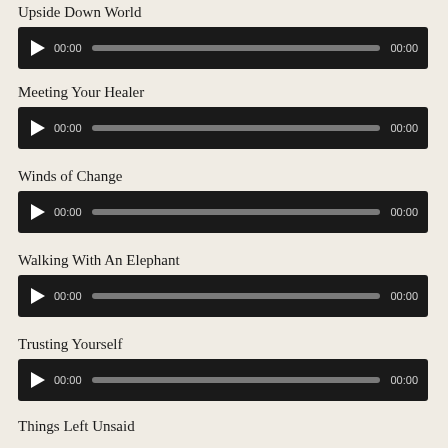Upside Down World
[Figure (other): Audio player widget with play button, progress bar, and time display showing 00:00]
Meeting Your Healer
[Figure (other): Audio player widget with play button, progress bar, and time display showing 00:00]
Winds of Change
[Figure (other): Audio player widget with play button, progress bar, and time display showing 00:00]
Walking With An Elephant
[Figure (other): Audio player widget with play button, progress bar, and time display showing 00:00]
Trusting Yourself
[Figure (other): Audio player widget with play button, progress bar, and time display showing 00:00]
Things Left Unsaid